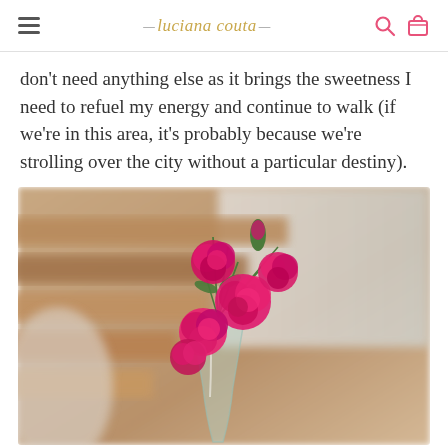luciana couta [navigation header with hamburger menu, logo, search and cart icons]
don't need anything else as it brings the sweetness I need to refuel my energy and continue to walk (if we're in this area, it's probably because we're strolling over the city without a particular destiny).
[Figure (photo): A glass vase with bright pink/magenta carnation flowers in focus against a blurred background of warm wooden shelves or steps and a light wall.]